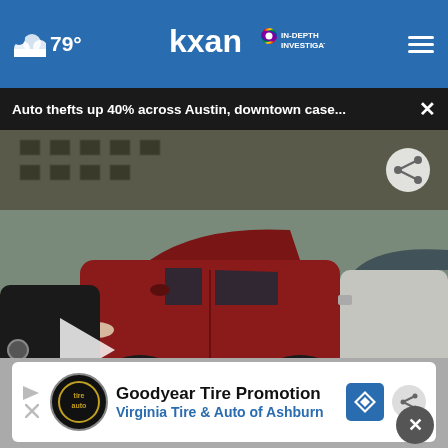79° kxan IN-DEPTH INVESTIGATIVE
Auto thefts up 40% across Austin, downtown case...
[Figure (screenshot): News video still showing cars in traffic with a lower-third graphic reading IN DEPTH | AUTO THEFTS UP 40% ACROSS AUSTIN, and a play button overlay]
Goodyear Tire Promotion
Virginia Tire & Auto of Ashburn